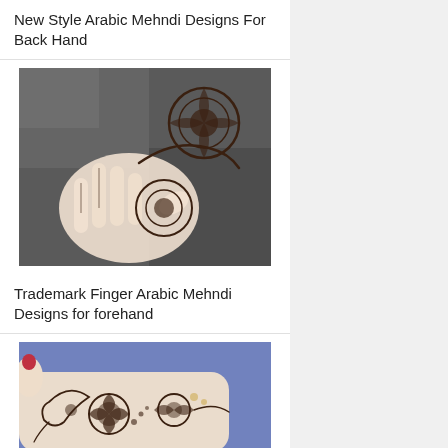New Style Arabic Mehndi Designs For Back Hand
[Figure (photo): Photo of a hand with elaborate Arabic mehndi/henna design featuring circular mandala patterns on the back of the hand, on a dark grey stone background]
Trademark Finger Arabic Mehndi Designs for forehand
[Figure (photo): Photo of a forehand/arm with detailed Arabic mehndi henna design featuring floral and paisley patterns on a blue background]